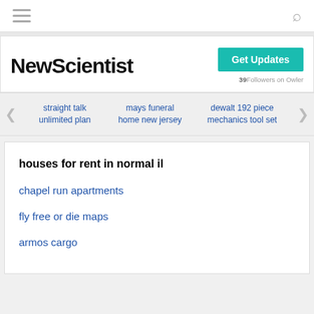NewScientist — Get Updates — 39 Followers on Owler
[Figure (screenshot): NewScientist logo and Get Updates button with 39 Followers on Owler]
straight talk unlimited plan
mays funeral home new jersey
dewalt 192 piece mechanics tool set
houses for rent in normal il
chapel run apartments
fly free or die maps
armos cargo